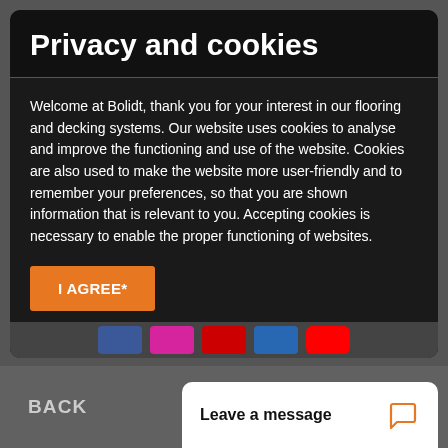Privacy and cookies
Welcome at Bolidt, thank you for your interest in our flooring and decking systems. Our website uses cookies to analyse and improve the functioning and use of the website. Cookies are also used to make the website more user-friendly and to remember your preferences, so that you are shown information that is relevant to you. Accepting cookies is necessary to enable the proper functioning of websites.
I AGREE*
*) By clicking "I agree", you agree to our General Terms and Conditions, our Disclaimer and our Privacy and Cookie Statement.
BACK
Leave a message